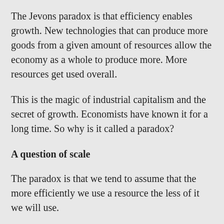The Jevons paradox is that efficiency enables growth. New technologies that can produce more goods from a given amount of resources allow the economy as a whole to produce more. More resources get used overall.
This is the magic of industrial capitalism and the secret of growth. Economists have known it for a long time. So why is it called a paradox?
A question of scale
The paradox is that we tend to assume that the more efficiently we use a resource the less of it we will use.
This is the case in our personal lives. If you buy a more fuel-efficient car, you might drive a little bit more but